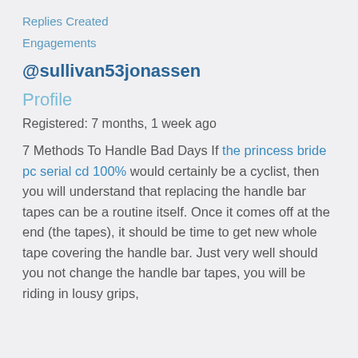Replies Created
Engagements
@sullivan53jonassen
Profile
Registered: 7 months, 1 week ago
7 Methods To Handle Bad Days If the princess bride pc serial cd 100% would certainly be a cyclist, then you will understand that replacing the handle bar tapes can be a routine itself. Once it comes off at the end (the tapes), it should be time to get new whole tape covering the handle bar. Just very well should you not change the handle bar tapes, you will be riding in lousy grips,